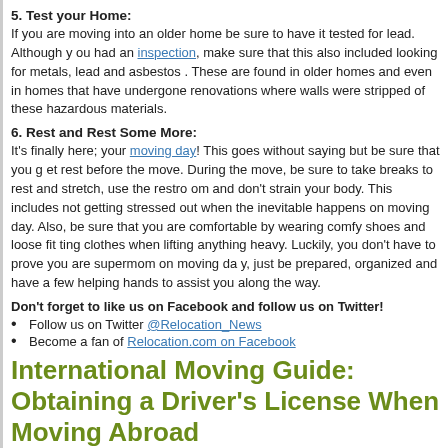5. Test your Home:
If you are moving into an older home be sure to have it tested for lead. Although you had an inspection, make sure that this also included looking for metals, lead and asbestos. These are found in older homes and even in homes that have undergone renovations where walls were stripped of these hazardous materials.
6. Rest and Rest Some More:
It's finally here; your moving day! This goes without saying but be sure that you get rest before the move. During the move, be sure to take breaks to rest and stretch, use the restroom and don't strain your body. This includes not getting stressed out when the inevitable happens on moving day. Also, be sure that you are comfortable by wearing comfy shoes and loose fitting clothes when lifting anything heavy. Luckily, you don't have to prove you are supermom on moving day, just be prepared, organized and have a few helping hands to assist you along the way.
Don't forget to like us on Facebook and follow us on Twitter!
Follow us on Twitter @Relocation_News
Become a fan of Relocation.com on Facebook
International Moving Guide: Obtaining a Driver's License When Moving Abroad
February 7th, 2011 by Admin
Categories: International Moving, Moving, Moving Day, Moving Industry, Moving with Kids, Move
Comments: No Comments »
[Figure (photo): Photo of two people, one wearing a hat, likely related to international moving]